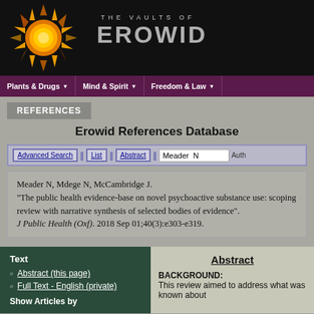THE VAULTS OF EROWID
Plants & Drugs | Mind & Spirit | Freedom & Law
REFERENCES
Erowid References Database
Advanced Search | List | Abstract | Meader N | Auth
Meader N, Mdege N, McCambridge J. "The public health evidence-base on novel psychoactive substance use: scoping review with narrative synthesis of selected bodies of evidence". J Public Health (Oxf). 2018 Sep 01;40(3):e303-e319.
Abstract (this page)
Full Text - English (private)
Abstract
BACKGROUND: This review aimed to address what was known about